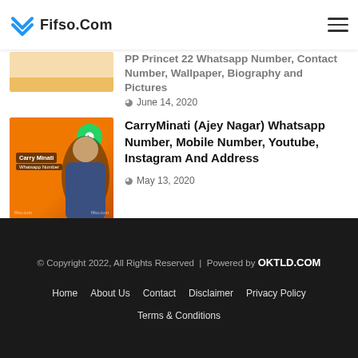Fifso.Com
PP Princet 22 Whatsapp Number, Contact Number, Wallpaper, Biography and Pictures
June 14, 2020
CarryMinati (Ajey Nagar) Whatsapp Number, Mobile Number, Youtube, Instagram And Address
May 13, 2020
© Copyright 2022, All Rights Reserved | Powered by OKTLD.COM
Home  About Us  Contact  Disclaimer  Privacy Policy
Terms & Conditions